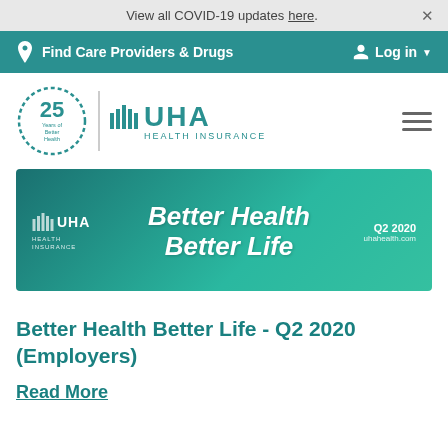View all COVID-19 updates here.
Find Care Providers & Drugs  Log in
[Figure (logo): UHA Health Insurance 25 Years of Better Health logo]
[Figure (illustration): Better Health Better Life Q2 2020 uhahealth.com banner]
Better Health Better Life - Q2 2020 (Employers)
Read More